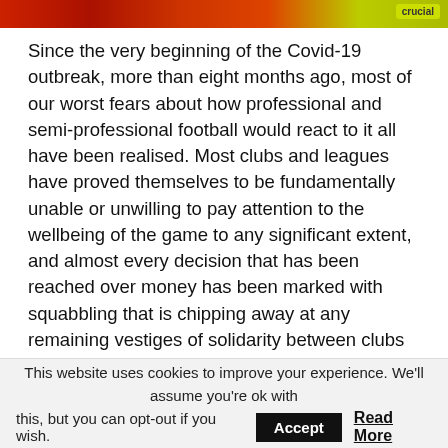[Figure (photo): Partial image banner at top of page showing red and yellow-green colors with a 'Crucial' branded badge in the top right corner]
Since the very beginning of the Covid-19 outbreak, more than eight months ago, most of our worst fears about how professional and semi-professional football would react to it all have been realised. Most clubs and leagues have proved themselves to be fundamentally unable or unwilling to pay attention to the wellbeing of the game to any significant extent, and almost every decision that has been reached over money has been marked with squabbling that is chipping away at any remaining vestiges of solidarity between clubs and leagues during these uniquely challenging times.
This website uses cookies to improve your experience. We'll assume you're ok with this, but you can opt-out if you wish. Accept Read More